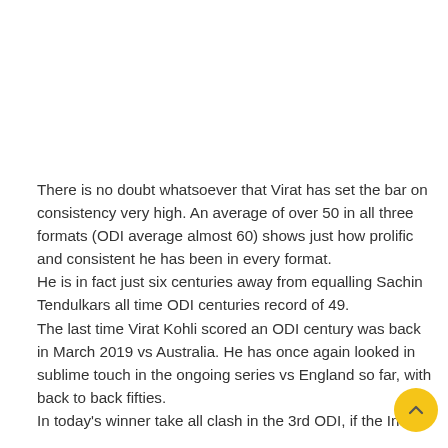There is no doubt whatsoever that Virat has set the bar on consistency very high. An average of over 50 in all three formats (ODI average almost 60) shows just how prolific and consistent he has been in every format. He is in fact just six centuries away from equalling Sachin Tendulkars all time ODI centuries record of 49. The last time Virat Kohli scored an ODI century was back in March 2019 vs Australia. He has once again looked in sublime touch in the ongoing series vs England so far, with back to back fifties. In today's winner take all clash in the 3rd ODI, if the Indian...